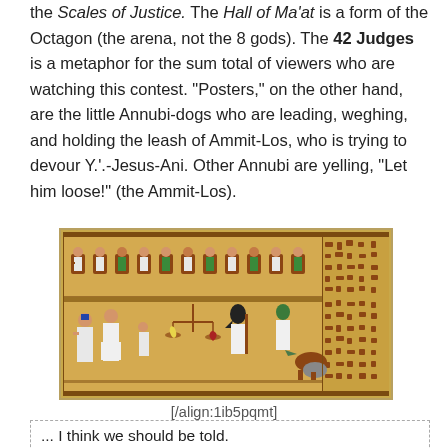the Scales of Justice. The Hall of Ma'at is a form of the Octagon (the arena, not the 8 gods). The 42 Judges is a metaphor for the sum total of viewers who are watching this contest. "Posters," on the other hand, are the little Annubi-dogs who are leading, weghing, and holding the leash of Ammit-Los, who is trying to devour Y.'.-Jesus-Ani. Other Annubi are yelling, "Let him loose!" (the Ammit-Los).
[Figure (illustration): Ancient Egyptian papyrus illustration showing the Hall of Ma'at / Weighing of the Heart scene. Upper register shows seated figures (gods/judges) in chairs with hieroglyphics. Lower register shows Anubis (jackal-headed figure) at scales, a standing figure in white robe, and Ammit crouching on the right, with hieroglyphic columns on the right side.]
[/align:1ib5pqmt]
... I think we should be told.